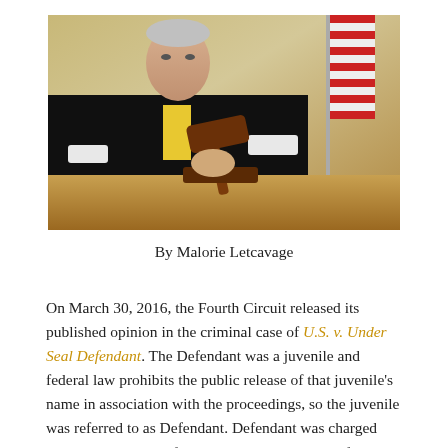[Figure (photo): A judge in black robes sitting at a bench holding a gavel, with an American flag in the background.]
By Malorie Letcavage
On March 30, 2016, the Fourth Circuit released its published opinion in the criminal case of U.S. v. Under Seal Defendant. The Defendant was a juvenile and federal law prohibits the public release of that juvenile's name in association with the proceedings, so the juvenile was referred to as Defendant. Defendant was charged with murder in aid of racketeering in violation of 18